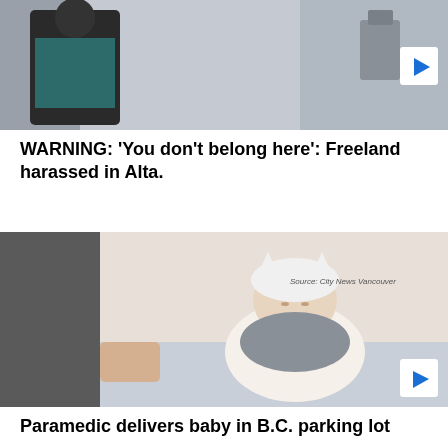[Figure (screenshot): Top portion of a news video thumbnail showing a person in a teal/dark outfit in what appears to be an indoor setting, with a play button overlay on the right side.]
WARNING: 'You don't belong here': Freeland harassed in Alta.
[Figure (photo): Photo of a newborn baby wearing a white cat-ear hat and white outfit, being held on what appears to be a hospital surface. Source: City News Vancouver watermark visible.]
Paramedic delivers baby in B.C. parking lot